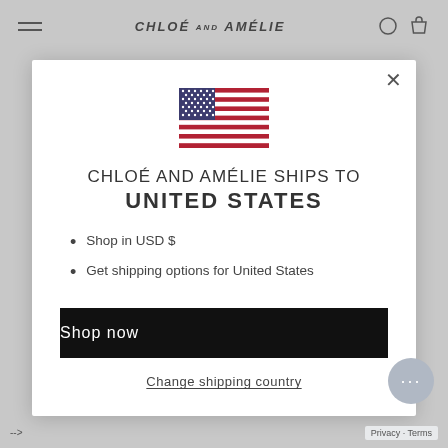CHLOÉ AND AMÉLIE
[Figure (illustration): US flag emoji/illustration centered in modal]
CHLOÉ AND AMÉLIE SHIPS TO UNITED STATES
Shop in USD $
Get shipping options for United States
Shop now
Change shipping country
Privacy · Terms